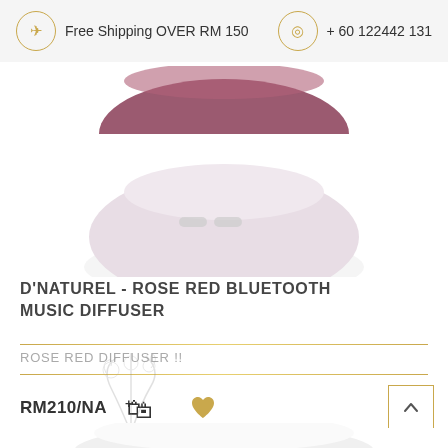Free Shipping OVER RM 150   + 60 122442 131
[Figure (photo): Two diffuser devices stacked — top one in dark rose/purple color, bottom one in light pink/lavender color, dome-shaped Bluetooth music diffusers]
D'NATUREL - ROSE RED BLUETOOTH MUSIC DIFFUSER
ROSE RED DIFFUSER !!
RM210/NA
[Figure (photo): Bottom portion of a white dome-shaped diffuser with decorative floral/botanical vapor illustration above it]